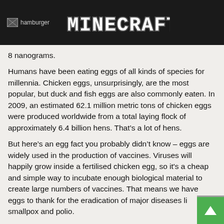MINECRAFT
8 nanograms.
Humans have been eating eggs of all kinds of species for millennia. Chicken eggs, unsurprisingly, are the most popular, but duck and fish eggs are also commonly eaten. In 2009, an estimated 62.1 million metric tons of chicken eggs were produced worldwide from a total laying flock of approximately 6.4 billion hens. That’s a lot of hens.
But here’s an egg fact you probably didn’t know – eggs are widely used in the production of vaccines. Viruses will happily grow inside a fertilised chicken egg, so it's a cheap and simple way to incubate enough biological material to create large numbers of vaccines. That means we have eggs to thank for the eradication of major diseases like smallpox and polio.